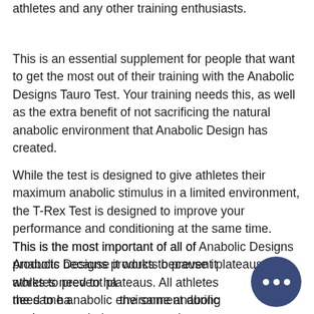athletes and any other training enthusiasts.
This is an essential supplement for people that want to get the most out of their training with the Anabolic Designs Tauro Test. Your training needs this, as well as the extra benefit of not sacrificing the natural anabolic environment that Anabolic Design has created.
While the test is designed to give athletes their maximum anabolic stimulus in a limited environment, the T-Rex Test is designed to improve your performance and conditioning at the same time.
This is the most important of all of Anabolic Designs products because it works to prevent plateaus. All athletes need to have the same anabolic environment during workout.